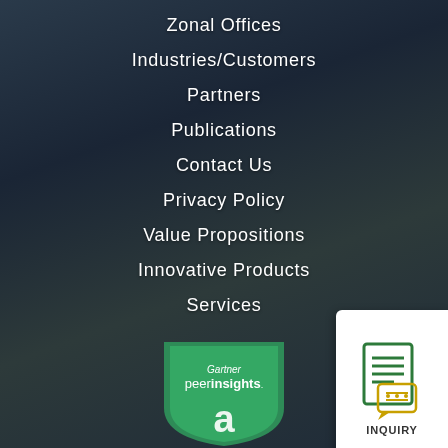Zonal Offices
Industries/Customers
Partners
Publications
Contact Us
Privacy Policy
Value Propositions
Innovative Products
Services
[Figure (logo): Inquiry button badge with document icon and text INQUIRY]
[Figure (logo): Gartner Peer Insights badge, green shield shape with text 'Gartner peer insights']